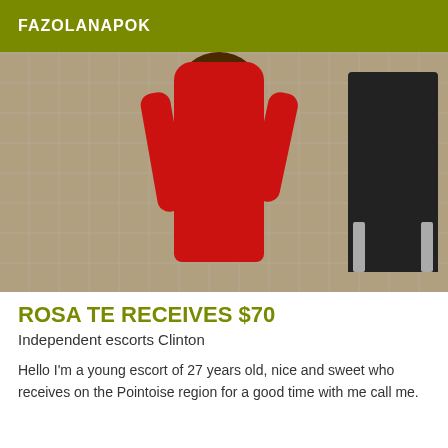FAZOLANAPOK
[Figure (photo): Woman in red outfit standing near a chair indoors]
ROSA TE RECEIVES $70
Independent escorts Clinton
Hello I'm a young escort of 27 years old, nice and sweet who receives on the Pointoise region for a good time with me call me.